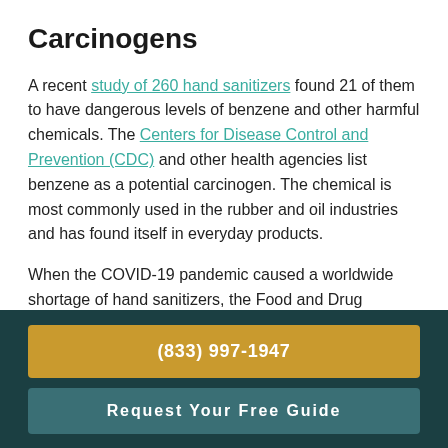Carcinogens
A recent study of 260 hand sanitizers found 21 of them to have dangerous levels of benzene and other harmful chemicals. The Centers for Disease Control and Prevention (CDC) and other health agencies list benzene as a potential carcinogen. The chemical is most commonly used in the rubber and oil industries and has found itself in everyday products.
When the COVID-19 pandemic caused a worldwide shortage of hand sanitizers, the Food and Drug Administration (FDA) relaxed its standards in the manufacturing of hand sanitizers. Some unsafe brands
(833) 997-1947
Request Your Free Guide